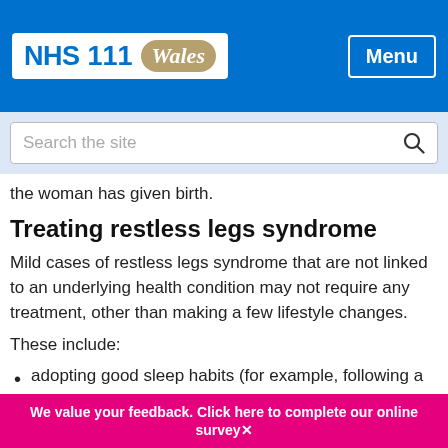[Figure (screenshot): NHS 111 Wales logo — white box with blue NHS text and gold Wales badge]
[Figure (screenshot): Menu button — white outlined button on blue header bar]
[Figure (screenshot): Search the site input box with magnifying glass icon]
the woman has given birth.
Treating restless legs syndrome
Mild cases of restless legs syndrome that are not linked to an underlying health condition may not require any treatment, other than making a few lifestyle changes.
These include:
adopting good sleep habits (for example, following a regular bedtime ritual, sleeping regular hours, and avoiding alcohol and caffeine late at night)
We value your feedback. Click here to complete our online survey✕